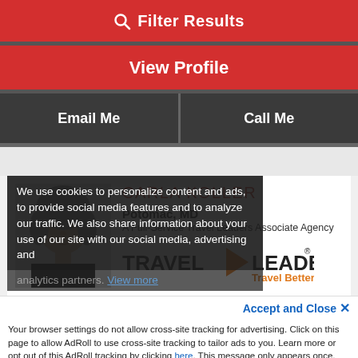Filter Results
View Profile
Email Me
Call Me
CARLA KOLLER
Potomac, MD
A Full-Service Travel Leaders Associate Agency
[Figure (logo): Travel Leaders Travel Better logo with orange arrow]
We use cookies to personalize content and ads, to provide social media features and to analyze our traffic. We also share information about your use of our site with our social media, advertising and analytics partners. View more
Accept and Close ✕
Your browser settings do not allow cross-site tracking for advertising. Click on this page to allow AdRoll to use cross-site tracking to tailor ads to you. Learn more or opt out of this AdRoll tracking by clicking here. This message only appears once.